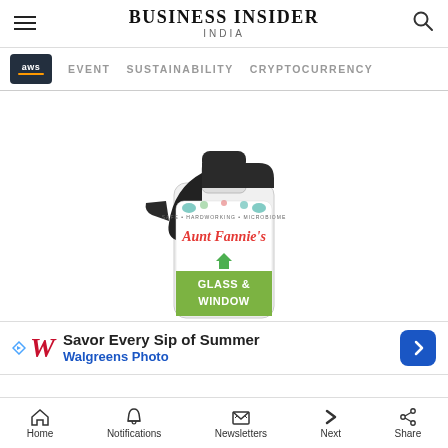BUSINESS INSIDER INDIA
EVENT   SUSTAINABILITY   CRYPTOCURRENCY
[Figure (photo): Aunt Fannie's Glass & Window spray cleaner bottle with black trigger sprayer, white transparent bottle, green label reading GLASS & WINDOW]
[Figure (infographic): Walgreens Photo advertisement banner: Savor Every Sip of Summer]
Home   Notifications   Newsletters   Next   Share